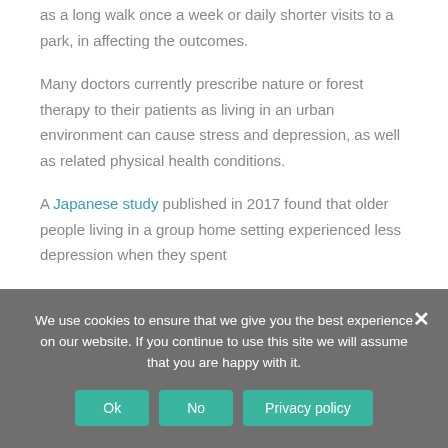as a long walk once a week or daily shorter visits to a park, in affecting the outcomes.
Many doctors currently prescribe nature or forest therapy to their patients as living in an urban environment can cause stress and depression, as well as related physical health conditions.
A Japanese study published in 2017 found that older people living in a group home setting experienced less depression when they spent
We use cookies to ensure that we give you the best experience on our website. If you continue to use this site we will assume that you are happy with it.